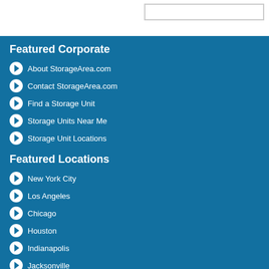Featured Corporate
About StorageArea.com
Contact StorageArea.com
Find a Storage Unit
Storage Units Near Me
Storage Unit Locations
Featured Locations
New York City
Los Angeles
Chicago
Houston
Indianapolis
Jacksonville